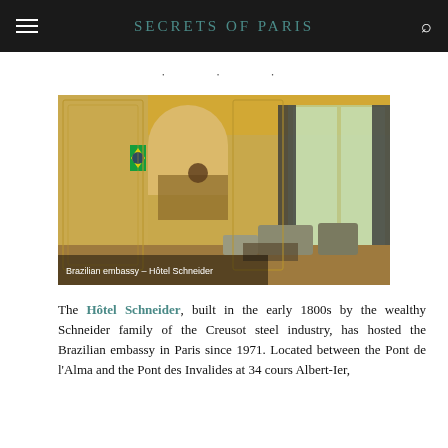SECRETS of PARIS
[Figure (photo): Interior of the Brazilian embassy (Hôtel Schneider) in Paris — an ornate gilded salon with painted wall panels, arched doorways, French windows, and classical furniture. A person sits at a desk in the background, with the Brazilian flag visible.]
Brazilian embassy – Hôtel Schneider
The Hôtel Schneider, built in the early 1800s by the wealthy Schneider family of the Creusot steel industry, has hosted the Brazilian embassy in Paris since 1971. Located between the Pont de l'Alma and the Pont des Invalides at 34 cours Albert-Ier,